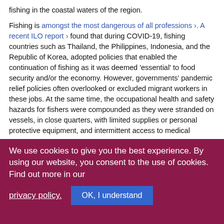fishing in the coastal waters of the region.
Fishing is amongst the most dangerous of all professions ›. A recent ILO report › found that during COVID-19, fishing countries such as Thailand, the Philippines, Indonesia, and the Republic of Korea, adopted policies that enabled the continuation of fishing as it was deemed 'essential' to food security and/or the economy. However, governments' pandemic relief policies often overlooked or excluded migrant workers in these jobs. At the same time, the occupational health and safety hazards for fishers were compounded as they were stranded on vessels, in close quarters, with limited supplies or personal protective equipment, and intermittent access to medical care.
We use cookies to give you the best experience. By using our website, you consent to the use of cookies. Find out more in our privacy policy. OK, I understand